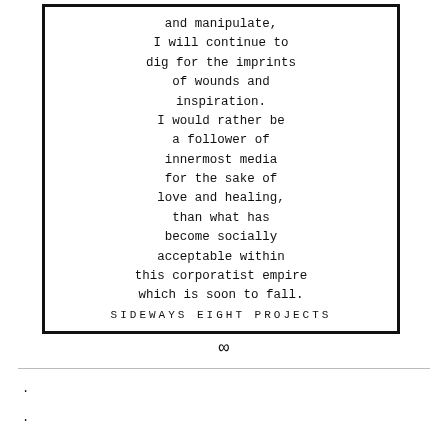and manipulate,
I will continue to
dig for the imprints
of wounds and
inspiration.
I would rather be
a follower of
innermost media
for the sake of
love and healing,
than what has
become socially
acceptable within
this corporatist empire
which is soon to fall.
SIDEWAYS EIGHT PROJECTS
∞
.
.
.
.